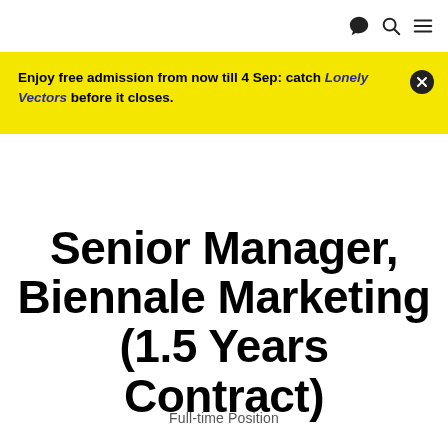Enjoy free admission from now till 4 Sep: catch Lonely Vectors before it closes.
Senior Manager, Biennale Marketing (1.5 Years Contract)
Full-time Position